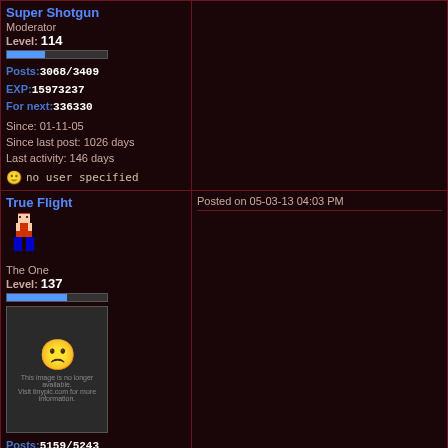Super Shotgun
Moderator
Level: 114
Posts:3068/3409
EXP:15973237
For next:336330
Since: 01-11-05
Since last post: 1026 days
Last activity: 146 days
no user specified
True Flight
The One
Level: 137
Posts:5159/5243
EXP:30802705
For next:70150
Since: 08-21-04
Since last post: 2087 days
Last activity: 2072 days
no user specified
Posted on 05-03-13 04:03 PM
Rogue
If you're reading this... You are the Resistance
Posted on 05-06-13 02:30 PM
Let's all remind ourselves of how this all star